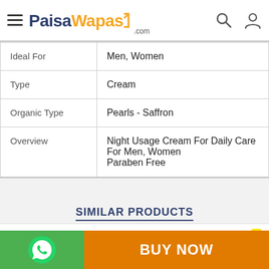PaisaWapas.com
|  |  |
| --- | --- |
| Ideal For | Men, Women |
| Type | Cream |
| Organic Type | Pearls - Saffron |
| Overview | Night Usage Cream For Daily Care
For Men, Women
Paraben Free |
SIMILAR PRODUCTS
Vridhi Night Cream 50 g
BUY NOW